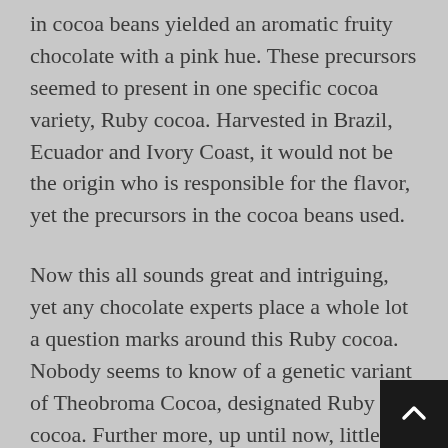in cocoa beans yielded an aromatic fruity chocolate with a pink hue. These precursors seemed to present in one specific cocoa variety, Ruby cocoa. Harvested in Brazil, Ecuador and Ivory Coast, it would not be the origin who is responsible for the flavor, yet the precursors in the cocoa beans used.
Now this all sounds great and intriguing, yet any chocolate experts place a whole lot a question marks around this Ruby cocoa. Nobody seems to know of a genetic variant of Theobroma Cocoa, designated Ruby cocoa. Further more, up until now, little was known about the cocoa content of the chocolate. Callebaut displays the info of its products on their website, which sheds more light on the matter. Composition: 47,3% cocoa. 29,5% would be cocoa butter and 2... fat free cocoa. So we can safely say that it is not the cocoa solids who are important her, yet the cocoa